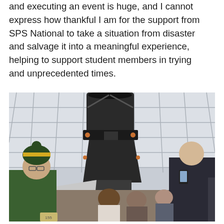and executing an event is huge, and I cannot express how thankful I am for the support from SPS National to take a situation from disaster and salvage it into a meaningful experience, helping to support student members in trying and unprecedented times.
[Figure (photo): Group of students and visitors gathered inside a telescope dome, looking up at a large research telescope. A person in a green hoodie and knit hat stands in the foreground on the left, while another person on the right photographs the telescope. The dome interior shows a white geodesic-style structure with grid panels.]